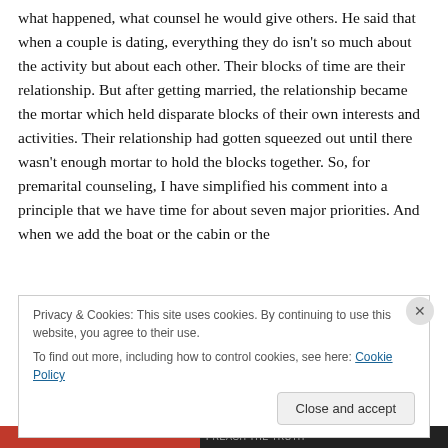what happened, what counsel he would give others. He said that when a couple is dating, everything they do isn't so much about the activity but about each other. Their blocks of time are their relationship. But after getting married, the relationship became the mortar which held disparate blocks of their own interests and activities. Their relationship had gotten squeezed out until there wasn't enough mortar to hold the blocks together. So, for premarital counseling, I have simplified his comment into a principle that we have time for about seven major priorities. And when we add the boat or the cabin or the
Privacy & Cookies: This site uses cookies. By continuing to use this website, you agree to their use.
To find out more, including how to control cookies, see here: Cookie Policy